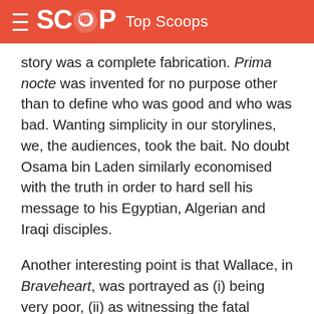SCOOP Top Scoops
story was a complete fabrication. Prima nocte was invented for no purpose other than to define who was good and who was bad. Wanting simplicity in our storylines, we, the audiences, took the bait. No doubt Osama bin Laden similarly economised with the truth in order to hard sell his message to his Egyptian, Algerian and Iraqi disciples.
Another interesting point is that Wallace, in Braveheart, was portrayed as (i) being very poor, (ii) as witnessing the fatal aftermath of an English pogrom on a neighbouring family, and (iii) as having had his father killed by the English. In reality Wallace was about 18